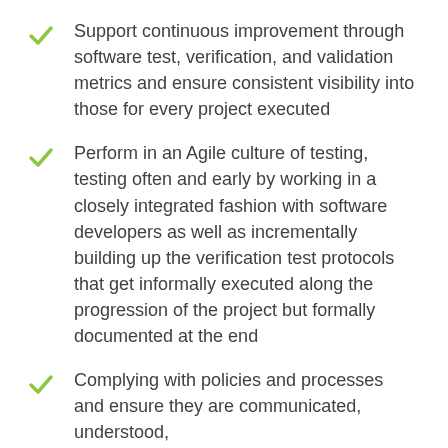Support continuous improvement through software test, verification, and validation metrics and ensure consistent visibility into those for every project executed
Perform in an Agile culture of testing, testing often and early by working in a closely integrated fashion with software developers as well as incrementally building up the verification test protocols that get informally executed along the progression of the project but formally documented at the end
Complying with policies and processes and ensure they are communicated, understood, implemented and...